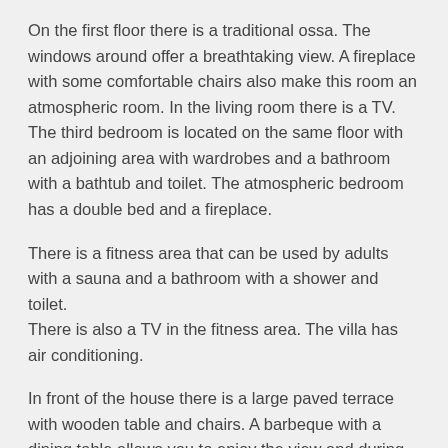On the first floor there is a traditional ossa. The windows around offer a breathtaking view. A fireplace with some comfortable chairs also make this room an atmospheric room. In the living room there is a TV. The third bedroom is located on the same floor with an adjoining area with wardrobes and a bathroom with a bathtub and toilet. The atmospheric bedroom has a double bed and a fireplace.
There is a fitness area that can be used by adults with a sauna and a bathroom with a shower and toilet.
There is also a TV in the fitness area. The villa has air conditioning.
In front of the house there is a large paved terrace with wooden table and chairs. A barbeque with a dining table allows you to enjoy the view and during your meal. A few steps down to the large garden with pool and jacuzzi. Under a shelter there is a comfortable seating corner and around the pool there is a hammock with some sun loungers